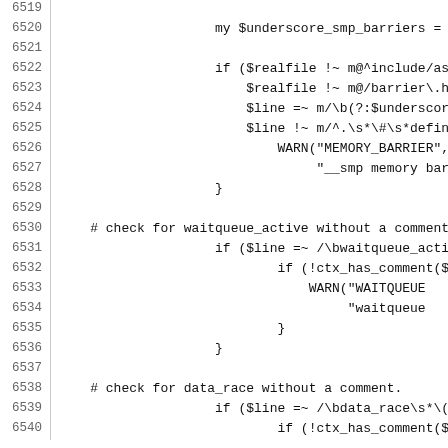[Figure (screenshot): Source code listing showing Perl script lines 6519-6540, with line numbers on the left and code on the right. The code checks for memory barriers and waitqueue_active patterns in kernel source files.]